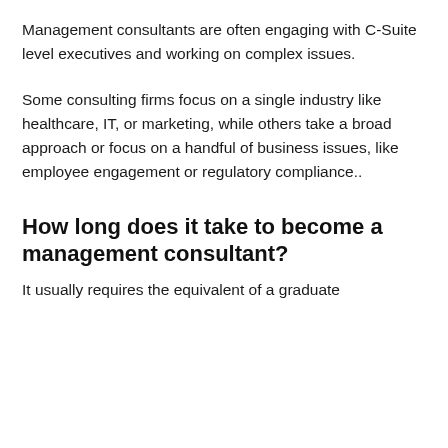Management consultants are often engaging with C-Suite level executives and working on complex issues.
Some consulting firms focus on a single industry like healthcare, IT, or marketing, while others take a broad approach or focus on a handful of business issues, like employee engagement or regulatory compliance..
How long does it take to become a management consultant?
It usually requires the equivalent of a graduate